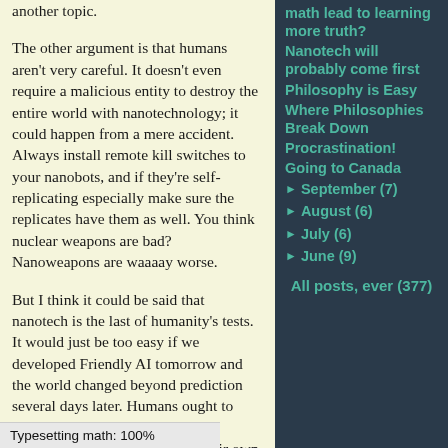another topic.

The other argument is that humans aren't very careful. It doesn't even require a malicious entity to destroy the entire world with nanotechnology; it could happen from a mere accident. Always install remote kill switches to your nanobots, and if they're self-replicating especially make sure the replicates have them as well. You think nuclear weapons are bad? Nanoweapons are waaaay worse.

But I think it could be said that nanotech is the last of humanity's tests. It would just be too easy if we developed Friendly AI tomorrow and the world changed beyond prediction several days later. Humans ought to prove themselves worthy of an intelligence vastly superior to their own. When nuclear weapons came around, humanity itself wasn't so much [test (it's kind of hard
math lead to learning more truth? Nanotech will probably come first Philosophy is Easy Where Philosophies Break Down Procrastination! Going to Canada September (7) August (6) July (6) June (9) All posts, ever (377)
Typesetting math: 100%